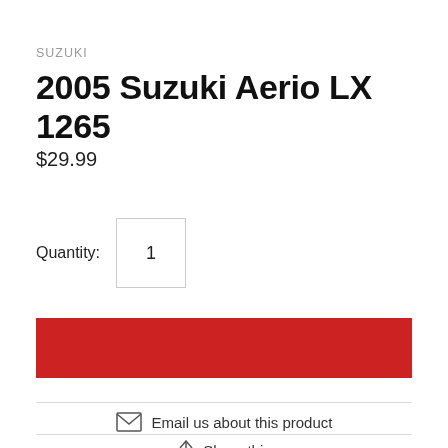SUZUKI
2005 Suzuki Aerio LX 1265
$29.99
Quantity: 1
[Figure (other): Red Add to Cart button]
Email us about this product
Share this